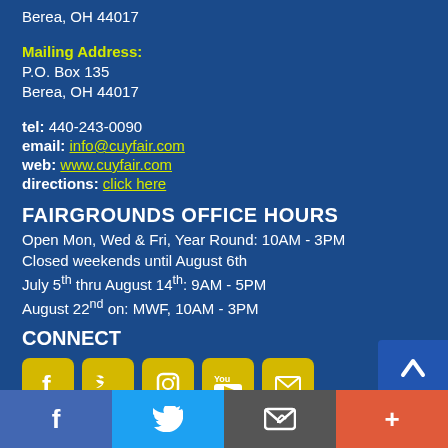Berea, OH 44017
Mailing Address:
P.O. Box 135
Berea, OH 44017
tel: 440-243-0090
email: info@cuyfair.com
web: www.cuyfair.com
directions: click here
FAIRGROUNDS OFFICE HOURS
Open Mon, Wed & Fri, Year Round: 10AM - 3PM
Closed weekends until August 6th
July 5th thru August 14th: 9AM - 5PM
August 22nd on: MWF, 10AM - 3PM
CONNECT
[Figure (infographic): Row of social media icon buttons: Facebook, Twitter, Instagram, YouTube, Email — yellow rounded squares with white icons. And scroll-to-top button.]
[Figure (infographic): Footer bar with four colored buttons: Facebook (blue, f icon), Twitter (light blue, bird icon), Email (dark grey, envelope icon), Plus (coral/orange, + icon)]